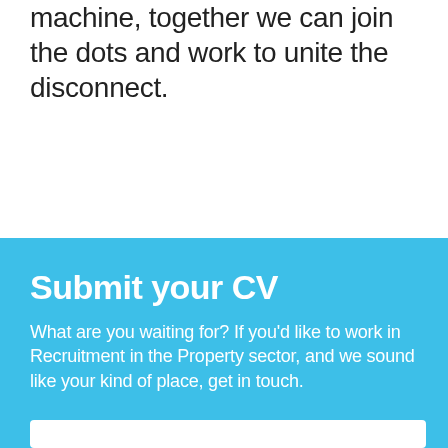machine, together we can join the dots and work to unite the disconnect.
Submit your CV
What are you waiting for? If you'd like to work in Recruitment in the Property sector, and we sound like your kind of place, get in touch.